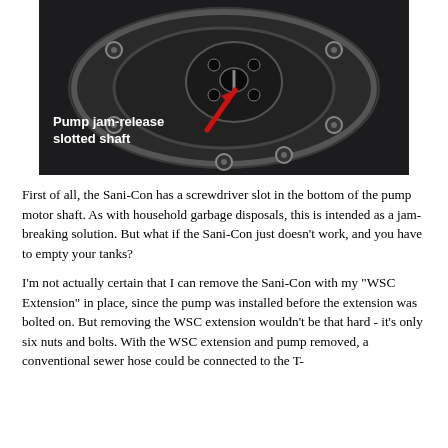[Figure (photo): Close-up photo of a black circular pump motor shaft from below, showing a slotted jam-release shaft in the center with a red arrow pointing to it. White label text reads 'Pump jam-release slotted shaft'.]
First of all, the Sani-Con has a screwdriver slot in the bottom of the pump motor shaft. As with household garbage disposals, this is intended as a jam-breaking solution. But what if the Sani-Con just doesn't work, and you have to empty your tanks?
I'm not actually certain that I can remove the Sani-Con with my "WSC Extension" in place, since the pump was installed before the extension was bolted on. But removing the WSC extension wouldn't be that hard - it's only six nuts and bolts. With the WSC extension and pump removed, a conventional sewer hose could be connected to the T-connector and emptied through the extension, but I'll...